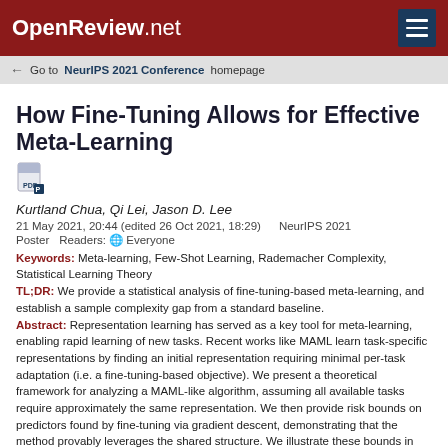OpenReview.net
← Go to NeurIPS 2021 Conference homepage
How Fine-Tuning Allows for Effective Meta-Learning
Kurtland Chua, Qi Lei, Jason D. Lee
21 May 2021, 20:44 (edited 26 Oct 2021, 18:29)   NeurIPS 2021
Poster   Readers:  Everyone
Keywords:  Meta-learning, Few-Shot Learning, Rademacher Complexity, Statistical Learning Theory
TL;DR:  We provide a statistical analysis of fine-tuning-based meta-learning, and establish a sample complexity gap from a standard baseline.
Abstract:  Representation learning has served as a key tool for meta-learning, enabling rapid learning of new tasks. Recent works like MAML learn task-specific representations by finding an initial representation requiring minimal per-task adaptation (i.e. a fine-tuning-based objective). We present a theoretical framework for analyzing a MAML-like algorithm, assuming all available tasks require approximately the same representation. We then provide risk bounds on predictors found by fine-tuning via gradient descent, demonstrating that the method provably leverages the shared structure. We illustrate these bounds in the logistic regression and neural network settings. In contrast we establish settings where learning one representation for all